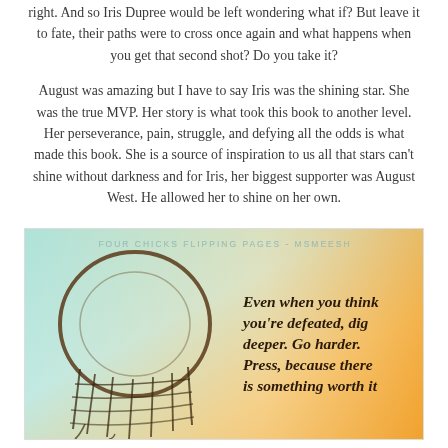right. And so Iris Dupree would be left wondering what if? But leave it to fate, their paths were to cross once again and what happens when you get that second shot? Do you take it?
August was amazing but I have to say Iris was the shining star. She was the true MVP. Her story is what took this book to another level. Her perseverance, pain, struggle, and defying all the odds is what made this book. She is a source of inspiration to us all that stars can't shine without darkness and for Iris, her biggest supporter was August West. He allowed her to shine on her own.
[Figure (illustration): A decorative book review image with a torn basketball net on the left side against a watercolor background of teal, orange, and yellow. Text overlay reads: 'Even when you think you're defeated, dig deeper. Go harder. Press, because there is something worth it'. Watermark at top reads 'FOUR CHICKS FLIPPING PAGES - MSMEESH'.]